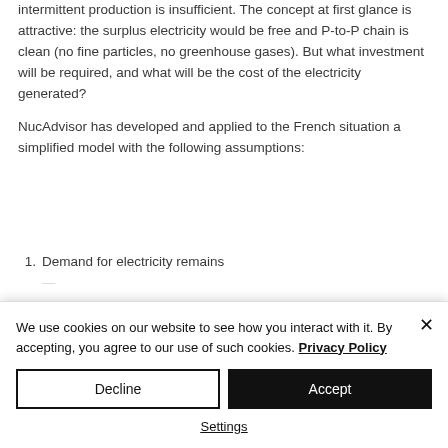intermittent production is insufficient. The concept at first glance is attractive: the surplus electricity would be free and P-to-P chain is clean (no fine particles, no greenhouse gases). But what investment will be required, and what will be the cost of the electricity generated?
NucAdvisor has developed and applied to the French situation a simplified model with the following assumptions:
1. Demand for electricity remains